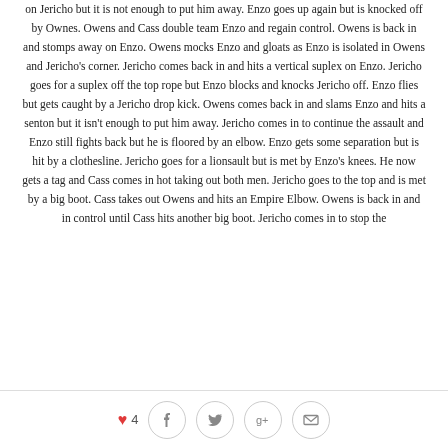on Jericho but it is not enough to put him away. Enzo goes up again but is knocked off by Ownes. Owens and Cass double team Enzo and regain control. Owens is back in and stomps away on Enzo. Owens mocks Enzo and gloats as Enzo is isolated in Owens and Jericho's corner. Jericho comes back in and hits a vertical suplex on Enzo. Jericho goes for a suplex off the top rope but Enzo blocks and knocks Jericho off. Enzo flies but gets caught by a Jericho drop kick. Owens comes back in and slams Enzo and hits a senton but it isn't enough to put him away. Jericho comes in to continue the assault and Enzo still fights back but he is floored by an elbow. Enzo gets some separation but is hit by a clothesline. Jericho goes for a lionsault but is met by Enzo's knees. He now gets a tag and Cass comes in hot taking out both men. Jericho goes to the top and is met by a big boot. Cass takes out Owens and hits an Empire Elbow. Owens is back in and in control until Cass hits another big boot. Jericho comes in to stop the